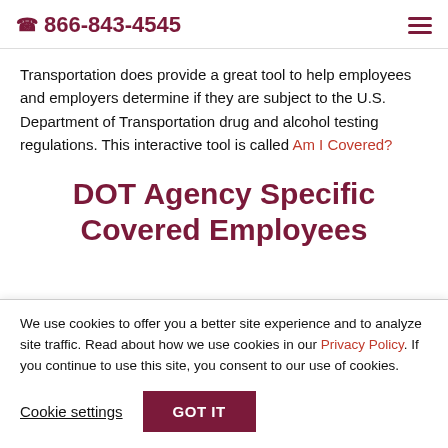☎ 866-843-4545
Transportation does provide a great tool to help employees and employers determine if they are subject to the U.S. Department of Transportation drug and alcohol testing regulations. This interactive tool is called Am I Covered?
DOT Agency Specific Covered Employees
We use cookies to offer you a better site experience and to analyze site traffic. Read about how we use cookies in our Privacy Policy. If you continue to use this site, you consent to our use of cookies.
Cookie settings | GOT IT